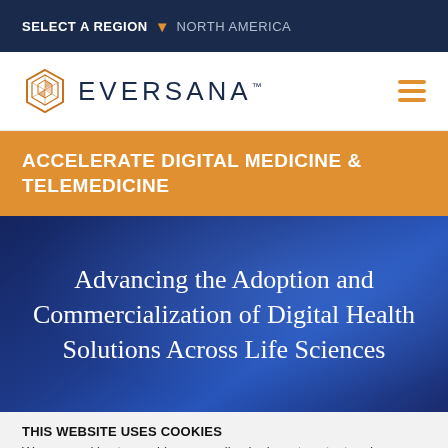SELECT A REGION ▾ NORTH AMERICA
[Figure (logo): EVERSANA hexagonal logo mark in orange, followed by EVERSANA™ wordmark in dark navy]
ACCELERATE DIGITAL MEDICINE & TELEMEDICINE
Advancing the Adoption and Commercialization of Digital Health Solutions Across Life Sciences
THIS WEBSITE USES COOKIES
We use cookies to provide personalized relevant content and